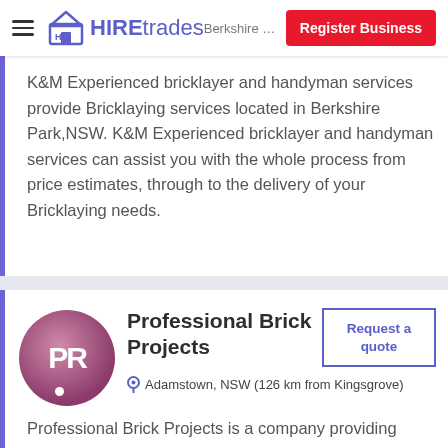HIREtrades — Register Business
K&M Experienced bricklayer and handyman services provide Bricklaying services located in Berkshire Park,NSW. K&M Experienced bricklayer and handyman services can assist you with the whole process from price estimates, through to the delivery of your Bricklaying needs.
Professional Brick Projects
Adamstown, NSW (126 km from Kingsgrove)
Professional Brick Projects is a company providing Bricklaying services in